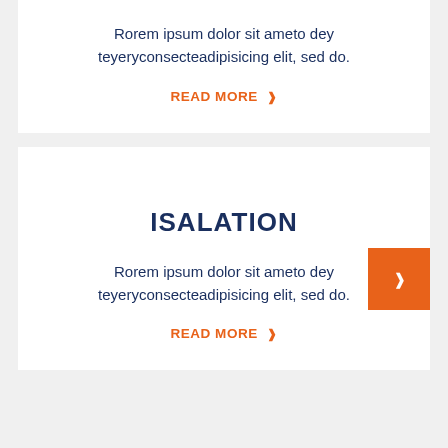Rorem ipsum dolor sit ameto dey teyeryconsecteadipisicing elit, sed do.
READ MORE ❯
ISALATION
Rorem ipsum dolor sit ameto dey teyeryconsecteadipisicing elit, sed do.
READ MORE ❯